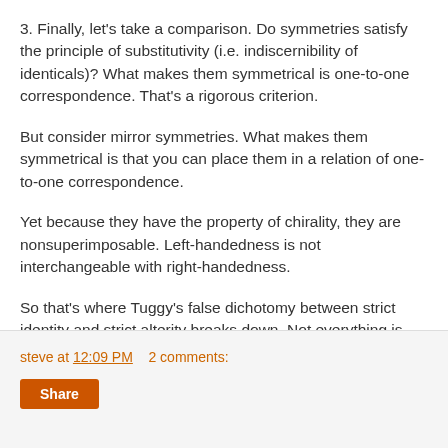3. Finally, let's take a comparison. Do symmetries satisfy the principle of substitutivity (i.e. indiscernibility of identicals)? What makes them symmetrical is one-to-one correspondence. That's a rigorous criterion.
But consider mirror symmetries. What makes them symmetrical is that you can place them in a relation of one-to-one correspondence.
Yet because they have the property of chirality, they are nonsuperimposable. Left-handedness is not interchangeable with right-handedness.
So that's where Tuggy's false dichotomy between strict identity and strict alterity breaks down. Not everything is reducible to his binaries.
steve at 12:09 PM   2 comments: